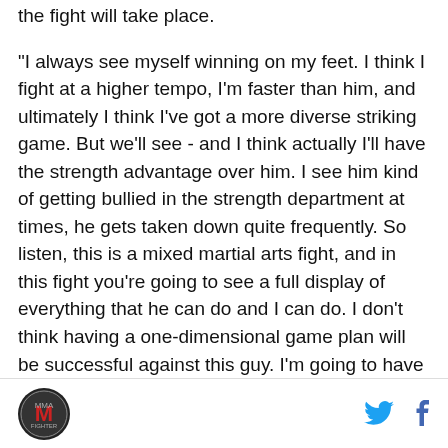the fight will take place.
"I always see myself winning on my feet. I think I fight at a higher tempo, I'm faster than him, and ultimately I think I've got a more diverse striking game. But we'll see - and I think actually I'll have the strength advantage over him. I see him kind of getting bullied in the strength department at times, he gets taken down quite frequently. So listen, this is a mixed martial arts fight, and in this fight you're going to see a full display of everything that he can do and I can do. I don't think having a one-dimensional game plan will be successful against this guy. I'm going to have to mix it up, keep him guessing, but ultimately I do like to fight on the feet, so I think predominantly that's where it will take
Logo | Twitter | Facebook